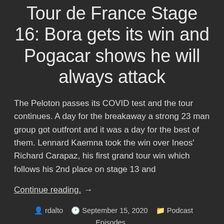Tour de France Stage 16: Bora gets its win and Pogacar shows he will always attack
The Peloton passes its COVID test and the tour continues. A day for the breakaway a strong 23 man group got outfront and it was a day for the best of them. Lennard Kaemna took the win over Ineos' Richard Carapaz, his first grand tour win which follows his 2nd place on stage 13 and
Continue reading  →
rdalto   September 15, 2020   Podcast Episodes   Cycling, cycling news, cycling tips, pro tour cycling, the move, tour de france, velo news